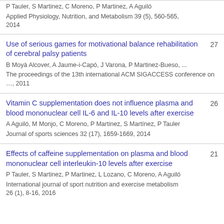P Tauler, S Martinez, C Moreno, P Martinez, A Aguiló
Applied Physiology, Nutrition, and Metabolism 39 (5), 560-565, 2014
Use of serious games for motivational balance rehabilitation of cerebral palsy patients
B Moyà Alcover, A Jaume-i-Capó, J Varona, P Martinez-Bueso, ...
The proceedings of the 13th international ACM SIGACCESS conference on …, 2011
27
Vitamin C supplementation does not influence plasma and blood mononuclear cell IL-6 and IL-10 levels after exercise
A Aguiló, M Monjo, C Moreno, P Martinez, S Martínez, P Tauler
Journal of sports sciences 32 (17), 1659-1669, 2014
26
Effects of caffeine supplementation on plasma and blood mononuclear cell interleukin-10 levels after exercise
P Tauler, S Martinez, P Martinez, L Lozano, C Moreno, A Aguiló
International journal of sport nutrition and exercise metabolism 26 (1), 8-16, 2016
21